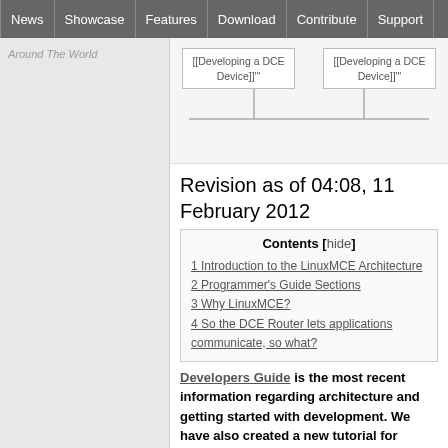News | Showcase | Features | Download | Contribute | Support
Around The World
[Figure (schematic): Two boxes labeled [[Developing a DCE Device]] connected by lines to a horizontal bar]
Revision as of 04:08, 11 February 2012
Contents [hide]
1 Introduction to the LinuxMCE Architecture
2 Programmer's Guide Sections
3 Why LinuxMCE?
4 So the DCE Router lets applications communicate, so what?
Developers Guide is the most recent information regarding architecture and getting started with development. We have also created a new tutorial for Developing a DCE Device
LinuxMCE includes hundreds of scripts